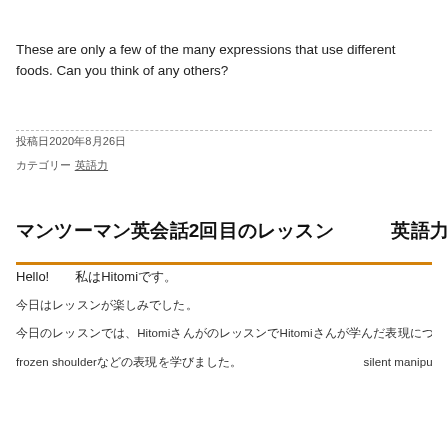These are only a few of the many expressions that use different foods. Can you think of any others?
投稿日2020年8月26日
カテゴリー 英語力
マンツーマン英会話2回目のレッスン　　　英語力
Hello!　　私はHitomiです。
今日はレッスンが楽しみでした。
今日のレッスンでは、HitomiさんがのレッスンでHitomiさんが学んだ表現について話し合いました。frozen shoulderなどの表現を学びました。silent manipulationという表現も話しました。
frozen shoulder　などの表現を学びました。　　silent manipulation　もあります